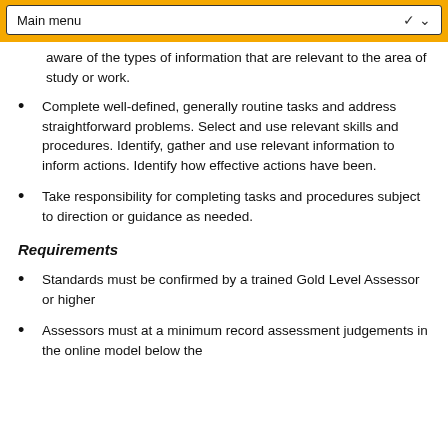Main menu
aware of the types of information that are relevant to the area of study or work.
Complete well-defined, generally routine tasks and address straightforward problems. Select and use relevant skills and procedures. Identify, gather and use relevant information to inform actions. Identify how effective actions have been.
Take responsibility for completing tasks and procedures subject to direction or guidance as needed.
Requirements
Standards must be confirmed by a trained Gold Level Assessor or higher
Assessors must at a minimum record assessment judgements in the online model below the